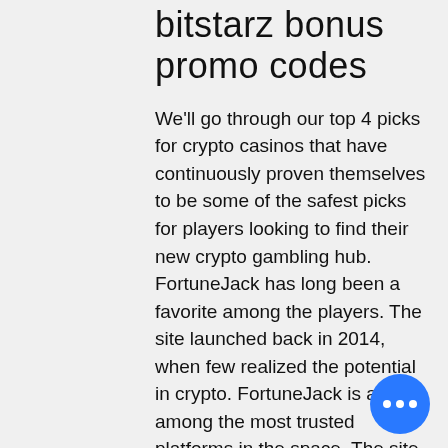bitstarz bonus promo codes
We'll go through our top 4 picks for crypto casinos that have continuously proven themselves to be some of the safest picks for players looking to find their new crypto gambling hub. FortuneJack has long been a favorite among the players. The site launched back in 2014, when few realized the potential in crypto. FortuneJack is also among the most trusted platforms in the space. The site has a great library of games, a smooth user-experience, generous bonuses and an innovative spirit when it comes to new games and promotions, bitstarz promo code no deposit 2022. Valid: 10 days after activation, bitstarz promo code no deposit 2022. The site provides a welcome bonus of approximately $300 play-offs and $500 for sports, bitstarz безлепозитный бонус october 2022